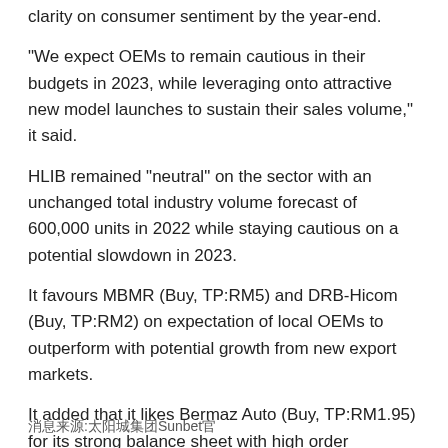clarity on consumer sentiment by the year-end.
"We expect OEMs to remain cautious in their budgets in 2023, while leveraging onto attractive new model launches to sustain their sales volume," it said.
HLIB remained "neutral" on the sector with an unchanged total industry volume forecast of 600,000 units in 2022 while staying cautious on a potential slowdown in 2023.
It favours MBMR (Buy, TP:RM5) and DRB-Hicom (Buy, TP:RM2) on expectation of local OEMs to outperform with potential growth from new export markets.
It added that it likes Bermaz Auto (Buy, TP:RM1.95) for its strong balance sheet with high order backlogs of 8,000 units for Mazda in Malaysia.
消息来源:太阳城集团Sunbet官